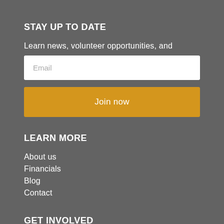STAY UP TO DATE
Learn news, volunteer opportunities, and
Email
Join now
LEARN MORE
About us
Financials
Blog
Contact
GET INVOLVED